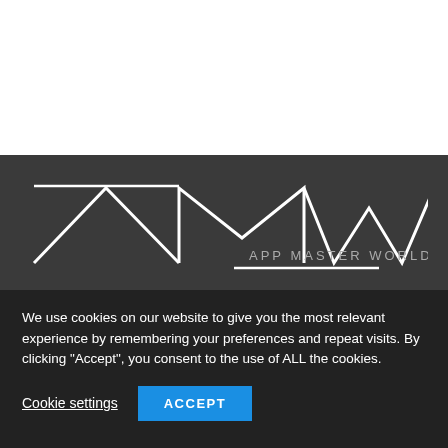[Figure (logo): White area - top portion of page, blank white background]
[Figure (logo): AMW App Master World logo on dark grey background. Large stylized letters AMW with geometric lines above. Below right reads APP MASTER WORLD in grey spaced letters.]
We use cookies on our website to give you the most relevant experience by remembering your preferences and repeat visits. By clicking “Accept”, you consent to the use of ALL the cookies.
Cookie settings
ACCEPT